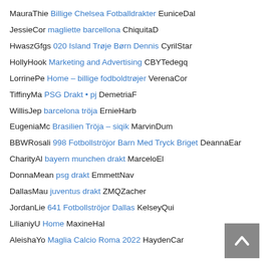MauraThie Billige Chelsea Fotballdrakter EuniceDal
JessieCor magliette barcellona ChiquitaD
HwaszGfgs 020 Island Trøje Børn Dennis CyrilStar
HollyHook Marketing and Advertising CBYTedegq
LorrinePe Home – billige fodboldtrøjer VerenaCor
TiffinyMa PSG Drakt • pj DemetriaF
WillisJep barcelona tröja ErnieHarb
EugeniaMc Brasilien Tröja – siqik MarvinDum
BBWRosali 998 Fotbollströjor Barn Med Tryck Briget DeannaEar
CharityAl bayern munchen drakt MarceloEl
DonnaMean psg drakt EmmettNav
DallasMau juventus drakt ZMQZacher
JordanLie 641 Fotbollströjor Dallas KelseyQui
LilianiyU Home MaxineHal
AleishaYo Maglia Calcio Roma 2022 HaydenCar